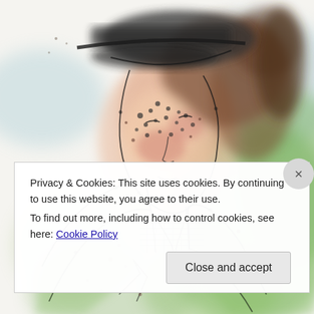[Figure (illustration): Watercolor and ink illustration of a person wearing a baseball cap with ponytail hair, freckled face, turtleneck collar, and an open light-colored shirt over a green background wash. The figure is depicted from roughly chest-up, rendered in loose expressive ink lines with watercolor washes of pink, green, brown, and blue.]
Privacy & Cookies: This site uses cookies. By continuing to use this website, you agree to their use.
To find out more, including how to control cookies, see here: Cookie Policy